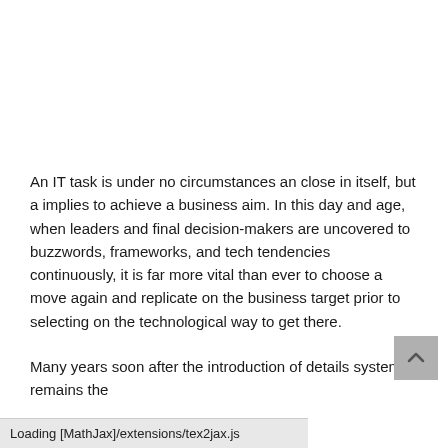An IT task is under no circumstances an close in itself, but a implies to achieve a business aim. In this day and age, when leaders and final decision-makers are uncovered to buzzwords, frameworks, and tech tendencies continuously, it is far more vital than ever to choose a move again and replicate on the business target prior to selecting on the technological way to get there.
Many years soon after the introduction of details system remains the
Loading [MathJax]/extensions/tex2jax.js